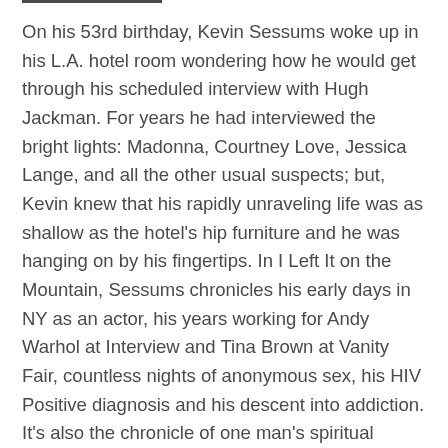On his 53rd birthday, Kevin Sessums woke up in his L.A. hotel room wondering how he would get through his scheduled interview with Hugh Jackman. For years he had interviewed the bright lights: Madonna, Courtney Love, Jessica Lange, and all the other usual suspects; but, Kevin knew that his rapidly unraveling life was as shallow as the hotel's hip furniture and he was hanging on by his fingertips. In I Left It on the Mountain, Sessums chronicles his early days in NY as an actor, his years working for Andy Warhol at Interview and Tina Brown at Vanity Fair, countless nights of anonymous sex, his HIV Positive diagnosis and his descent into addiction. It's also the chronicle of one man's spiritual redemption found while climbing to